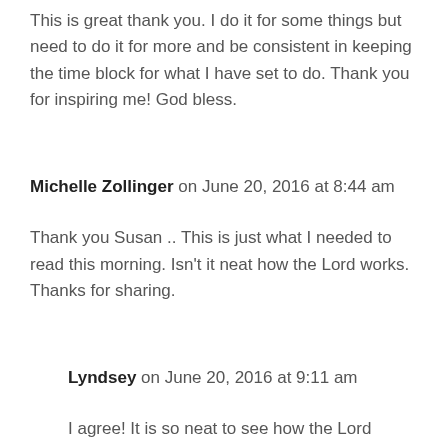This is great thank you. I do it for some things but need to do it for more and be consistent in keeping the time block for what I have set to do. Thank you for inspiring me! God bless.
Michelle Zollinger on June 20, 2016 at 8:44 am
Thank you Susan .. This is just what I needed to read this morning. Isn't it neat how the Lord works. Thanks for sharing.
Lyndsey on June 20, 2016 at 9:11 am
I agree! It is so neat to see how the Lord